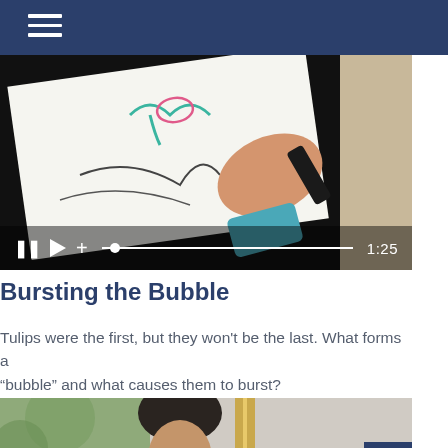Navigation bar with hamburger menu
[Figure (screenshot): Video player showing a hand drawing on a tablet device (tulip illustration), with playback controls at the bottom showing pause, play, plus, progress bar, and timestamp 1:25]
Bursting the Bubble
Tulips were the first, but they won't be the last. What forms a “bubble” and what causes them to burst?
[Figure (photo): A woman with curly hair looking down, seated near plants and a gold-framed mirror]